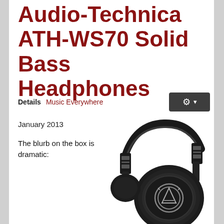Audio-Technica ATH-WS70 Solid Bass Headphones
Details  Music Everywhere
January 2013
The blurb on the box is dramatic:
[Figure (photo): Black Audio-Technica ATH-WS70 over-ear headphones shown from the front-right angle, displaying the headband, ear cup, and Audio-Technica logo]